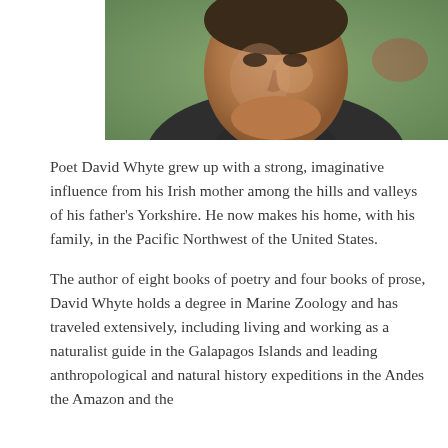[Figure (photo): Close-up photograph of poet David Whyte, a man wearing a dark jacket with a light-colored collar, photographed outdoors with a blurred green and reddish background.]
Poet David Whyte grew up with a strong, imaginative influence from his Irish mother among the hills and valleys of his father's Yorkshire. He now makes his home, with his family, in the Pacific Northwest of the United States.
The author of eight books of poetry and four books of prose, David Whyte holds a degree in Marine Zoology and has traveled extensively, including living and working as a naturalist guide in the Galapagos Islands and leading anthropological and natural history expeditions in the Andes the Amazon and the